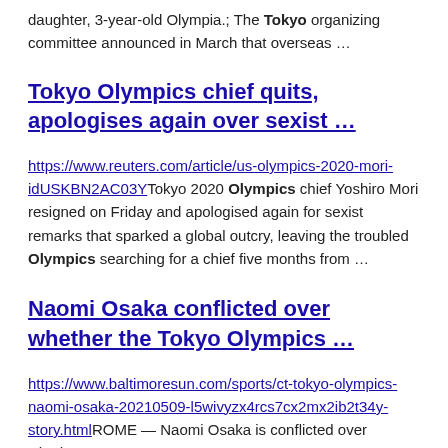daughter, 3-year-old Olympia.; The Tokyo organizing committee announced in March that overseas …
Tokyo Olympics chief quits, apologises again over sexist …
https://www.reuters.com/article/us-olympics-2020-mori-idUSKBN2AC03Y Tokyo 2020 Olympics chief Yoshiro Mori resigned on Friday and apologised again for sexist remarks that sparked a global outcry, leaving the troubled Olympics searching for a chief five months from …
Naomi Osaka conflicted over whether the Tokyo Olympics …
https://www.baltimoresun.com/sports/ct-tokyo-olympics-naomi-osaka-20210509-l5wivyzx4rcs7cx2mx2ib2t34y-story.html ROME — Naomi Osaka is conflicted over whether